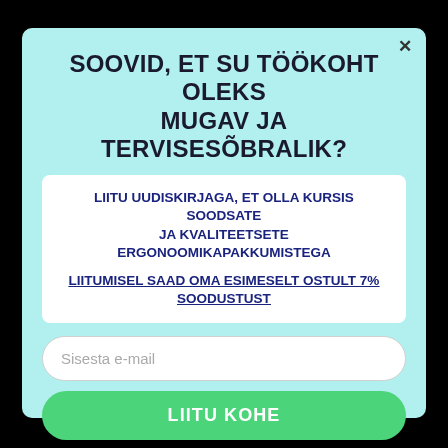SOOVID, ET SU TÖÖKOHT OLEKS MUGAV JA TERVISESÕBRALIK?
LIITU UUDISKIRJAGA, ET OLLA KURSIS SOODSATE JA KVALITEETSETE ERGONOOMIKAPAKKUMISTEGA
LIITUMISEL SAAD OMA ESIMESELT OSTULT 7% SOODUSTUST
Sisesta e-mail
LIITU KOHE
Meie ei jaga su andmeid.